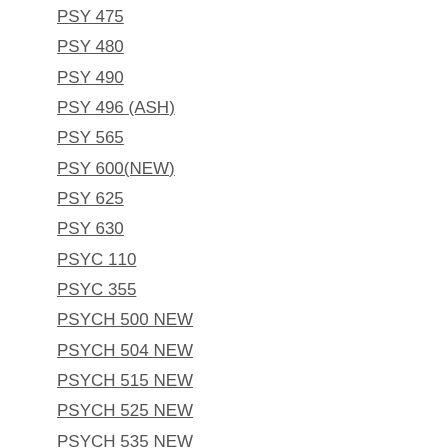PSY 475
PSY 480
PSY 490
PSY 496 (ASH)
PSY 565
PSY 600(NEW)
PSY 625
PSY 630
PSYC 110
PSYC 355
PSYCH 500 NEW
PSYCH 504 NEW
PSYCH 515 NEW
PSYCH 525 NEW
PSYCH 535 NEW
PSYCH 540 NEW
PSYCH 545 (NEW)
PSYCH 550 (NEW)
PSYCH 555 (NEW)